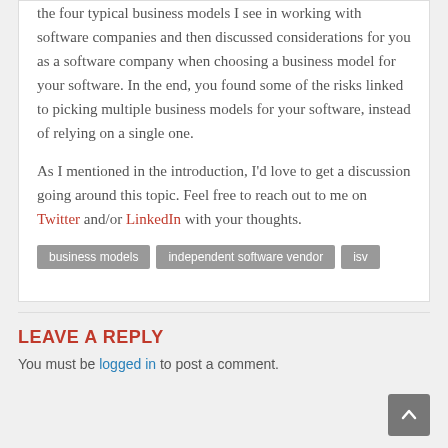the four typical business models I see in working with software companies and then discussed considerations for you as a software company when choosing a business model for your software. In the end, you found some of the risks linked to picking multiple business models for your software, instead of relying on a single one.
As I mentioned in the introduction, I’d love to get a discussion going around this topic. Feel free to reach out to me on Twitter and/or LinkedIn with your thoughts.
business models
independent software vendor
isv
LEAVE A REPLY
You must be logged in to post a comment.